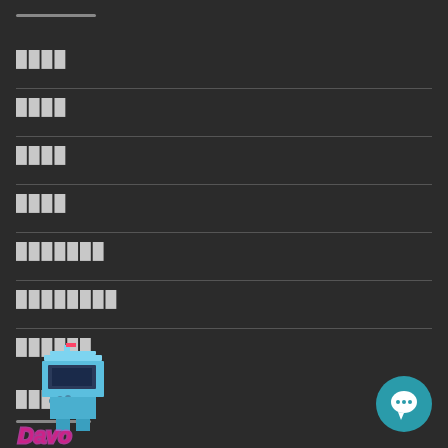████
████
████
████
███████
████████
██████
████
[Figure (logo): Game/arcade themed logo with blue pixel art character and stylized text 'Davo' in pink/red neon style]
[Figure (other): Teal circular chat/messaging button with speech bubble icon]